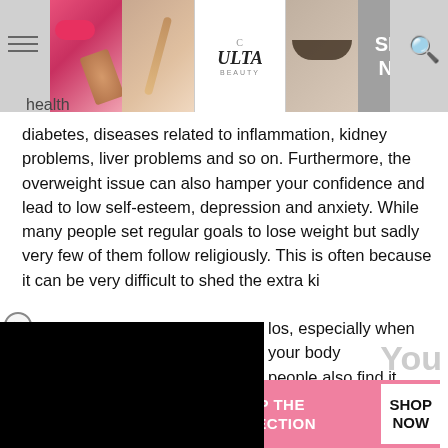[Figure (screenshot): Top navigation bar with Ulta Beauty advertisement banner showing makeup images, ULTA logo, SHOP NOW button, hamburger menu icon, and search icon]
health
diabetes, diseases related to inflammation, kidney problems, liver problems and so on. Furthermore, the overweight issue can also hamper your confidence and lead to low self-esteem, depression and anxiety. While many people set regular goals to lose weight but sadly very few of them follow religiously. This is often because it can be very difficult to shed the extra kilos, especially when your body people also find it challenging bit of snacking. With this in your snacks with dry fruits to aid
[Figure (screenshot): Black overlay advertisement rectangle covering left portion of page]
You May Like:
What Brand Of Yogurt Has The Least Amount Of Sugar
[Figure (screenshot): Bottom Victoria's Secret advertisement banner with model image, VS logo, SHOP THE COLLECTION text, and SHOP NOW button on pink background]
Drie You